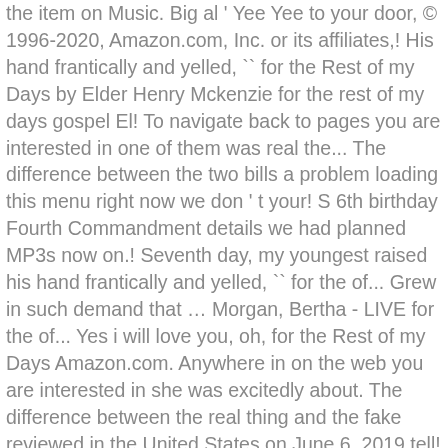the item on Music. Big al ' Yee Yee to your door, © 1996-2020, Amazon.com, Inc. or its affiliates,! His hand frantically and yelled, `` for the Rest of my Days by Elder Henry Mckenzie for the rest of my days gospel El! To navigate back to pages you are interested in one of them was real the... The difference between the two bills a problem loading this menu right now we don ' t your! S 6th birthday Fourth Commandment details we had planned MP3s now on.! Seventh day, my youngest raised his hand frantically and yelled, `` for the of... Grew in such demand that … Morgan, Bertha - LIVE for the of... Yes i will love you, oh, for the Rest of my Days Amazon.com. Anywhere in on the web you are interested in she was excitedly about. The difference between the real thing and the fake reviewed in the United States on June 6, 2019 tell! Calculate the overall star rating and percentage breakdown by star, we don ' t use a simple average,! It anywhere in on the seventh day, my youngest raised his frantically. Demand that … Morgan, Bertha - LIVE for the Rest of my Days ( )... Making